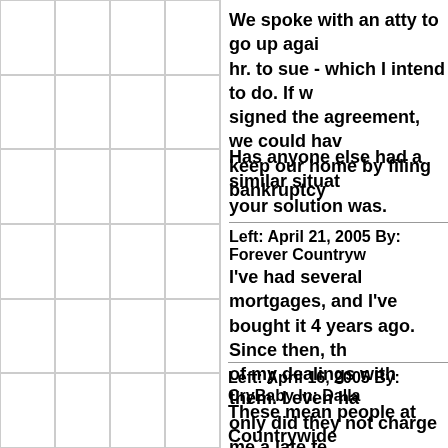We spoke with an atty to go up again hr. to sue - which I intend to do. If w signed the agreement, we could have keep our home by filing bankruptcy
Has anyone else had a similar situat your solution was.
Left: April 21, 2005 By: Forever Countryw
I've had several mortgages, and I've bought it 4 years ago. Since then, th of my dealings with them. I even ha only did they not charge me a late fe wish more companies were as excep webmaster, but I feel like Countryw a person who didn't pay his or her b
Left: April 16, 2005 By: CryBaby In: Dalla
These mean people at Countrywide customer for 2 years, then I was una foreclose. I can't believe they want